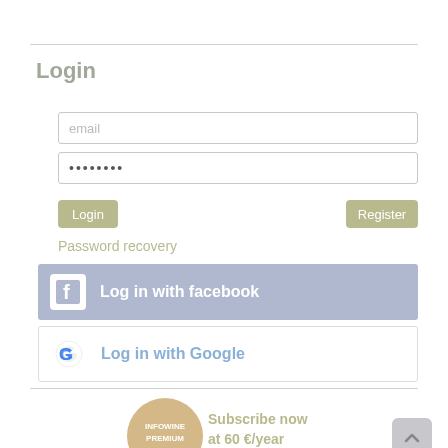Login
email
••••••••
Login
Register
Password recovery
Log in with facebook
Log in with Google
[Figure (infographic): Infowine Premium circular badge and subscribe now at 60 €/year text]
Subscribe now at 60 €/year